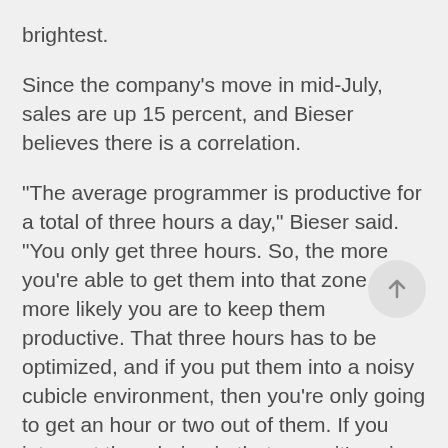brightest. Since the company's move in mid-July, sales are up 15 percent, and Bieser believes there is a correlation. "The average programmer is productive for a total of three hours a day," Bieser said. "You only get three hours. So, the more you're able to get them into that zone, the more likely you are to keep them productive. That three hours has to be optimized, and if you put them into a noisy cubicle environment, then you're only going to get an hour or two out of them. If you interrupt them being in that zone, it's going to take them 15 minutes or more to get back into it."
John Rondy is a freelance writer based in Milwaukee. He can be reached at jrondy@wistechnology.com.